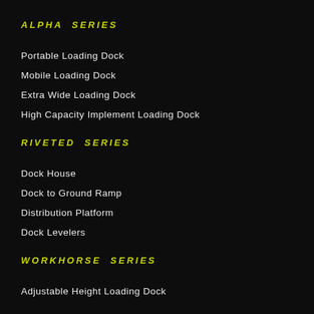ALPHA SERIES
Portable Loading Dock
Mobile Loading Dock
Extra Wide Loading Dock
High Capacity Implement Loading Dock
RIVETED SERIES
Dock House
Dock to Ground Ramp
Distribution Platform
Dock Levelers
WORKHORSE SERIES
Adjustable Height Loading Dock